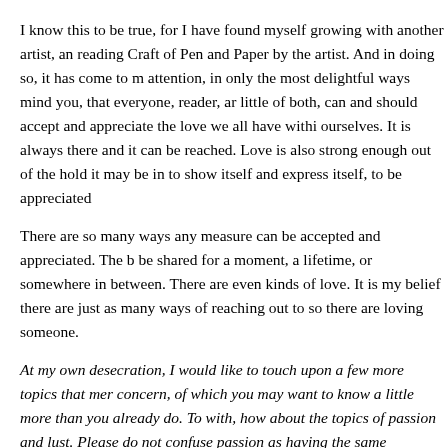I know this to be true, for I have found myself growing with another artist, an reading Craft of Pen and Paper by the artist. And in doing so, it has come to m attention, in only the most delightful ways mind you, that everyone, reader, ar little of both, can and should accept and appreciate the love we all have withi ourselves. It is always there and it can be reached. Love is also strong enough out of the hold it may be in to show itself and express itself, to be appreciated
There are so many ways any measure can be accepted and appreciated. The b be shared for a moment, a lifetime, or somewhere in between. There are even kinds of love. It is my belief there are just as many ways of reaching out to so there are loving someone.
At my own desecration, I would like to touch upon a few more topics that mer concern, of which you may want to know a little more than you already do. To with, how about the topics of passion and lust. Please do not confuse passion as having the same meaning. Lust is a selfish desire to receive, have or hold; a selfish desire to give selflessly of oneself, asking nothing in return. Love is t force without which passion and lust have no place as we know it.
Just as one has the desire to give, it is also just as important to have someone